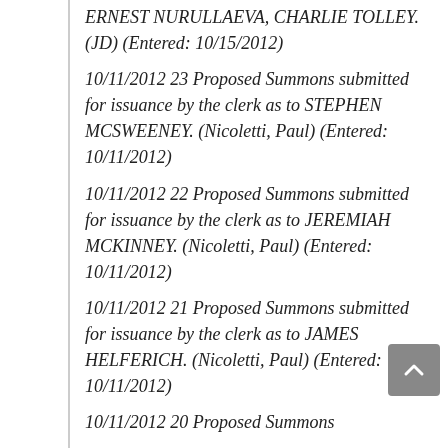ERNEST NURULLAEVA, CHARLIE TOLLEY. (JD) (Entered: 10/15/2012) 10/11/2012 23 Proposed Summons submitted for issuance by the clerk as to STEPHEN MCSWEENEY. (Nicoletti, Paul) (Entered: 10/11/2012) 10/11/2012 22 Proposed Summons submitted for issuance by the clerk as to JEREMIAH MCKINNEY. (Nicoletti, Paul) (Entered: 10/11/2012) 10/11/2012 21 Proposed Summons submitted for issuance by the clerk as to JAMES HELFERICH. (Nicoletti, Paul) (Entered: 10/11/2012) 10/11/2012 20 Proposed Summons